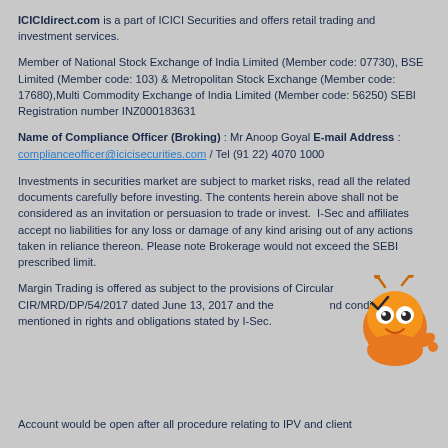ICICIdirect.com is a part of ICICI Securities and offers retail trading and investment services.
Member of National Stock Exchange of India Limited (Member code: 07730), BSE Limited (Member code: 103) & Metropolitan Stock Exchange (Member code: 17680),Multi Commodity Exchange of India Limited (Member code: 56250) SEBI Registration number INZ000183631
Name of Compliance Officer (Broking) : Mr Anoop Goyal E-mail Address : complianceofficer@icicisecurities.com / Tel (91 22) 4070 1000
Investments in securities market are subject to market risks, read all the related documents carefully before investing. The contents herein above shall not be considered as an invitation or persuasion to trade or invest. I-Sec and affiliates accept no liabilities for any loss or damage of any kind arising out of any actions taken in reliance thereon. Please note Brokerage would not exceed the SEBI prescribed limit.
Margin Trading is offered as subject to the provisions of Circular CIR/MRD/DP/54/2017 dated June 13, 2017 and the conditions mentioned in rights and obligations statement issued by I-Sec.
[Figure (illustration): Orange cartoon mascot character with eyes and antennae, pointing with finger]
Account would be open after all procedure relating to IPV and client